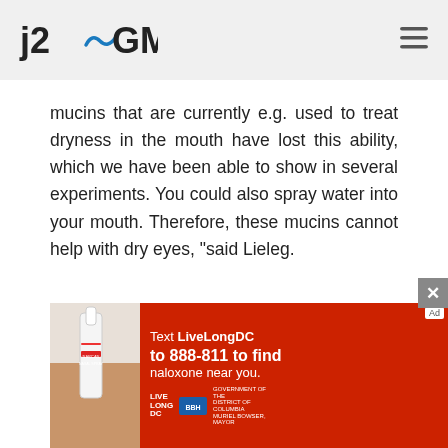j2GMN
mucins that are currently e.g. used to treat dryness in the mouth have lost this ability, which we have been able to show in several experiments. You could also spray water into your mouth. Therefore, these mucins cannot help with dry eyes, "said Lieleg.
In experiments on a prepared pig's eye, they then tested how their specially isolated mucin works on contact lenses. The research team was able to demonstrate, microscopically, that there
[Figure (photo): Advertisement banner: red background with image of a nasal spray and text 'Text LiveLongDC to 888-811 to find naloxone near you.' with Live Long DC and DC government logos.]